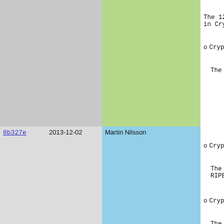| Hash | Date | Author | Content |
| --- | --- | --- | --- |
|  |  |  | The 128/25...
in Crypto. |
|  |  |  | o  Crypto.SHA...

   The SHA-3 |
| 8b327e | 2013-12-02 | Martin Nilsson | o  Crypto.GOS...

   The lesser
   RIPEMD160

o  Crypto.RSA

   The key ge |
| 573f8f | 2013-12-04 | Martin Nilsson | results i...
is 10 time |
| 8b327e | 2013-12-02 | Martin Nilsson | o  Crypto.Has

   Added supp |
| 190121 | 2014-10-20 | Martin Nilsson | o  Crypto.Ran

   The underl
   cautious Y
   sources. A |